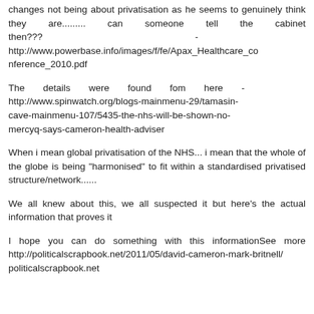changes not being about privatisation as he seems to genuinely think they are......... can someone tell the cabinet then??? - http://www.powerbase.info/images/f/fe/Apax_Healthcare_conference_2010.pdf
The details were found fom here - http://www.spinwatch.org/blogs-mainmenu-29/tamasin-cave-mainmenu-107/5435-the-nhs-will-be-shown-no-mercyq-says-cameron-health-adviser
When i mean global privatisation of the NHS... i mean that the whole of the globe is being "harmonised" to fit within a standardised privatised structure/network......
We all knew about this, we all suspected it but here's the actual information that proves it
I hope you can do something with this informationSee more http://politicalscrapbook.net/2011/05/david-cameron-mark-britnell/ politicalscrapbook.net